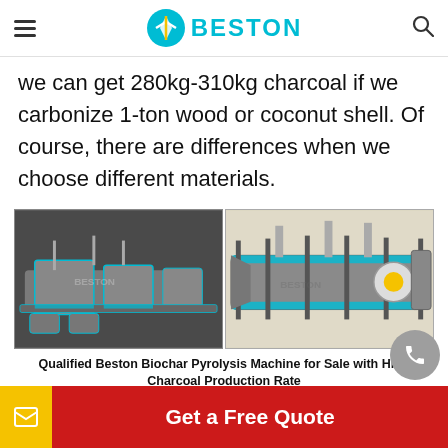BESTON
we can get 280kg-310kg charcoal if we carbonize 1-ton wood or coconut shell. Of course, there are differences when we choose different materials.
[Figure (photo): Two side-by-side 3D renderings of Beston biochar pyrolysis machines. Left image shows a full production line on a dark background. Right image shows a rotary kiln-style carbonization furnace on a beige background. Both have teal/cyan highlights and Beston watermarks.]
Qualified Beston Biochar Pyrolysis Machine for Sale with High Charcoal Production Rate
Get a Free Quote